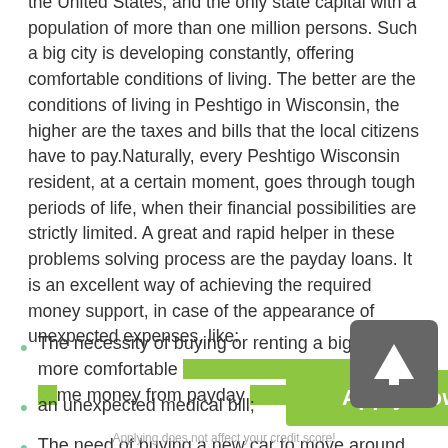…Peshtigo, Wisconsin is one of the five biggest localities in the United States, and the only state capital with a population of more than one million persons. Such a big city is developing constantly, offering comfortable conditions of living. The better are the conditions of living in Peshtigo in Wisconsin, the higher are the taxes and bills that the local citizens have to pay.Naturally, every Peshtigo Wisconsin resident, at a certain moment, goes through tough periods of life, when their financial possibilities are strictly limited. A great and rapid helper in these problems solving process are the payday loans. It is an excellent way of achieving the required money support, in case of the appearance of unexpected expenses, like:
The necessity of buying or renting a bigger and more comfortable house, through borrowing some money from payday loans;
an unexpected medical bill;
The need of buying a new car to move around Peshtigo